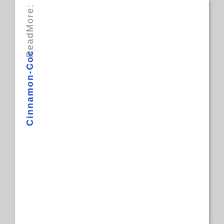. . → ReadMore: Cinnamon-Coc
Cinnamon-Coc